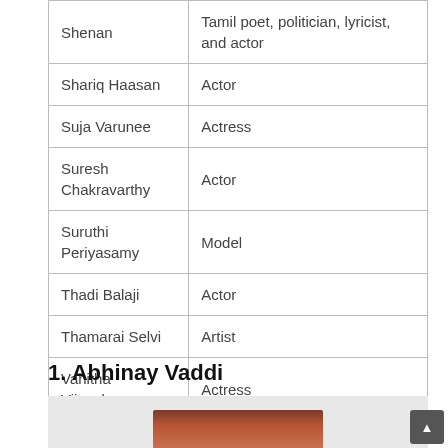| Name | Description |
| --- | --- |
| Shenan | Tamil poet, politician, lyricist, and actor |
| Shariq Haasan | Actor |
| Suja Varunee | Actress |
| Suresh Chakravarthy | Actor |
| Suruthi Periyasamy | Model |
| Thadi Balaji | Actor |
| Thamarai Selvi | Artist |
| Vanitha Vijayakumar | Actress |
1. Abhinay Vaddi
[Figure (photo): Partial photo of a person, cropped at bottom of page]